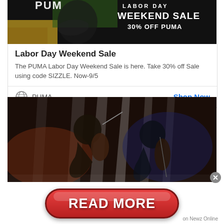[Figure (screenshot): PUMA Labor Day Weekend Sale advertisement banner with athlete in black PUMA gear, text overlay: LABOR DAY WEEKEND SALE 30% OFF PUMA]
Labor Day Weekend Sale
The PUMA Labor Day Weekend Sale is here. Take 30% off Sale using code SIZZLE. Now-9/5
PUMA   Shop Now
[Figure (photo): Two musicians playing string instruments (violin and cello) on a dramatic stage with bright light beams]
[Figure (screenshot): READ MORE button overlay advertisement from Newz Online with close button (x)]